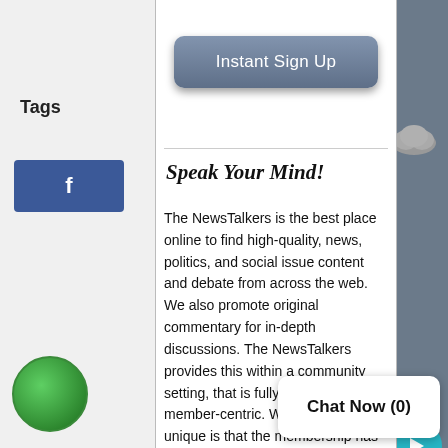[Figure (screenshot): Background web page with Tags label, Facebook button, avatar icons, cloud icon, and arrow button on a grey background]
[Figure (screenshot): Modal dialog with Instant Sign Up button, horizontal divider, italic header Speak Your Mind!, and body text about NewsTalkers website]
Instant Sign Up
Speak Your Mind!
The NewsTalkers is the best place online to find high-quality, news, politics, and social issue content and debate from across the web. We also promote original commentary for in-depth discussions. The NewsTalkers provides this within a community setting, that is fully moderated and member-centric. What makes us unique is that the membership has a voice in all aspects of NewsTalkers. Come join and mind".
Chat Now (0)